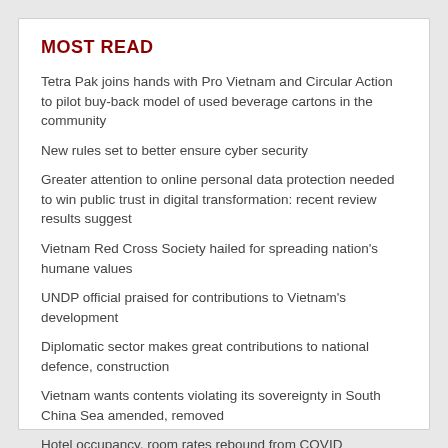MOST READ
Tetra Pak joins hands with Pro Vietnam and Circular Action to pilot buy-back model of used beverage cartons in the community
New rules set to better ensure cyber security
Greater attention to online personal data protection needed to win public trust in digital transformation: recent review results suggest
Vietnam Red Cross Society hailed for spreading nation's humane values
UNDP official praised for contributions to Vietnam's development
Diplomatic sector makes great contributions to national defence, construction
Vietnam wants contents violating its sovereignty in South China Sea amended, removed
Hotel occupancy, room rates rebound from COVID